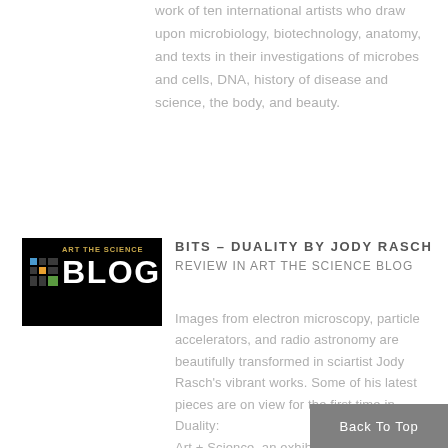work of ten international artists who draw upon microbiology, biotechnology, anatomy, and texts in their investigations of microbes and cells, DNA, history of disease and science, the body, and beauty.
[Figure (logo): Art The Science Blog logo: black background with 'ART THE SCIENCE' in gold text and 'BLOG' in white bold text with a grid icon on the left.]
BITS - DUALITY BY JODY RASCH Review in ART THE SCIENCE BLOG
Images from electron microscopy, particle accelerators, and radio astronomy are beautifully transformed in sciartist Jody Rasch's vibrant works. Some of his latest pieces are on view for the first time in Duality: Art + Science, an exhibit curated by the American Association for the A...